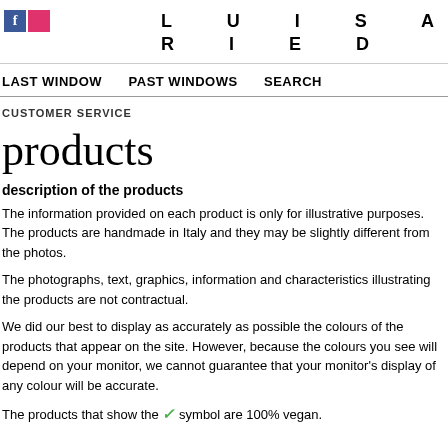LUISA RIED (brand logo with Facebook icon)
LAST WINDOW   PAST WINDOWS   SEARCH
CUSTOMER SERVICE
products
description of the products
The information provided on each product is only for illustrative purposes. The products are handmade in Italy and they may be slightly different from the photos.
The photographs, text, graphics, information and characteristics illustrating the products are not contractual.
We did our best to display as accurately as possible the colours of the products that appear on the site. However, because the colours you see will depend on your monitor, we cannot guarantee that your monitor's display of any colour will be accurate.
The products that show the V symbol are 100% vegan.